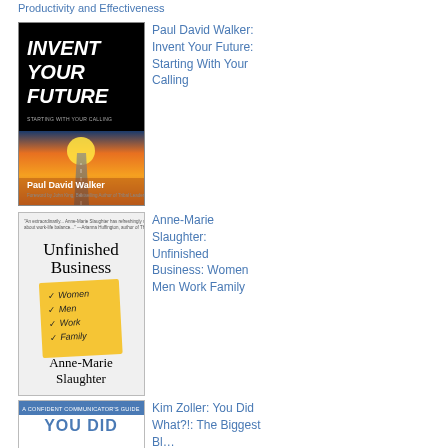Productivity and Effectiveness
[Figure (illustration): Book cover: Invent Your Future - Starting With Your Calling by Paul David Walker. Black background with white italic bold title text and sunset landscape image.]
Paul David Walker: Invent Your Future: Starting With Your Calling
[Figure (illustration): Book cover: Unfinished Business: Women Men Work Family by Anne-Marie Slaughter. Light background with title text and yellow sticky note listing Women, Men, Work, Family.]
Anne-Marie Slaughter: Unfinished Business: Women Men Work Family
[Figure (illustration): Book cover: You Did What?!: The Biggest Blunders... A Confident Communicator's Guide. Blue and white cover with bold title text.]
Kim Zoller: You Did What?!: The Biggest Blunders